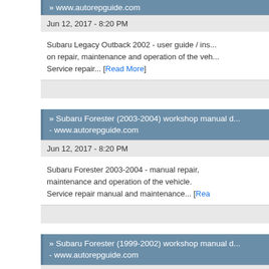» www.autorepguide.com
Jun 12, 2017 - 8:20 PM
Subaru Legacy Outback 2002 - user guide / ins... on repair, maintenance and operation of the veh... Service repair... [Read More]
» Subaru Forester (2003-2004) workshop manual d... - www.autorepguide.com
Jun 12, 2017 - 8:20 PM
Subaru Forester 2003-2004 - manual repair, maintenance and operation of the vehicle. Service repair manual and maintenance... [Read More]
» Subaru Forester (1999-2002) workshop manual d... - www.autorepguide.com
Jun 12, 2017 - 8:20 PM
Subaru Forester 1999-2002 - manual operation...